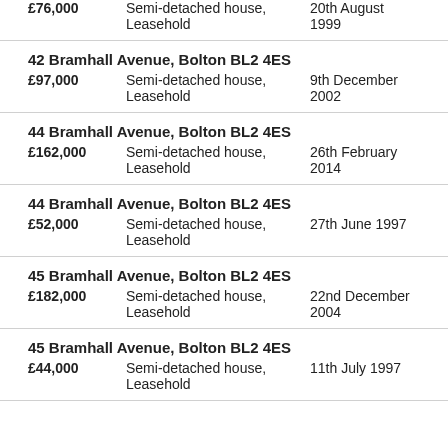£76,000   Semi-detached house, Leasehold   20th August 1999
42 Bramhall Avenue, Bolton BL2 4ES
£97,000   Semi-detached house, Leasehold   9th December 2002
44 Bramhall Avenue, Bolton BL2 4ES
£162,000   Semi-detached house, Leasehold   26th February 2014
44 Bramhall Avenue, Bolton BL2 4ES
£52,000   Semi-detached house, Leasehold   27th June 1997
45 Bramhall Avenue, Bolton BL2 4ES
£182,000   Semi-detached house, Leasehold   22nd December 2004
45 Bramhall Avenue, Bolton BL2 4ES
£44,000   Semi-detached house, Leasehold   11th July 1997